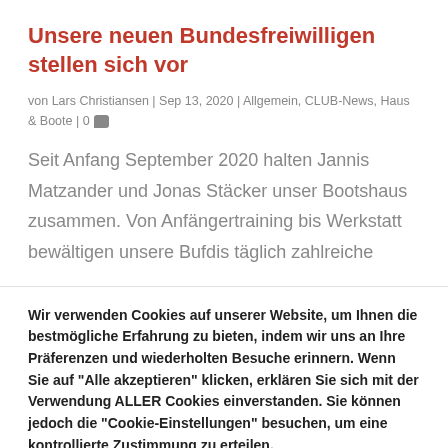Unsere neuen Bundesfreiwilligen stellen sich vor
von Lars Christiansen | Sep 13, 2020 | Allgemein, CLUB-News, Haus & Boote | 0
Seit Anfang September 2020 halten Jannis Matzander und Jonas Stäcker unser Bootshaus zusammen. Von Anfängertraining bis Werkstatt bewältigen unsere Bufdis täglich zahlreiche
Wir verwenden Cookies auf unserer Website, um Ihnen die bestmögliche Erfahrung zu bieten, indem wir uns an Ihre Präferenzen und wiederholten Besuche erinnern. Wenn Sie auf "Alle akzeptieren" klicken, erklären Sie sich mit der Verwendung ALLER Cookies einverstanden. Sie können jedoch die "Cookie-Einstellungen" besuchen, um eine kontrollierte Zustimmung zu erteilen.
Ablehnen | Einstellungen | Alle zulassen